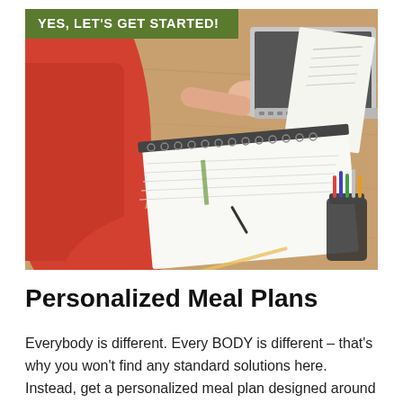[Figure (photo): Overhead view of a person in a red/orange top sitting at a wooden desk, writing in a spiral notebook with printed forms, next to an open MacBook laptop and a jar of pens/pencils.]
Personalized Meal Plans
Everybody is different. Every BODY is different – that's why you won't find any standard solutions here. Instead, get a personalized meal plan designed around your lifestyle, your personal preferences,